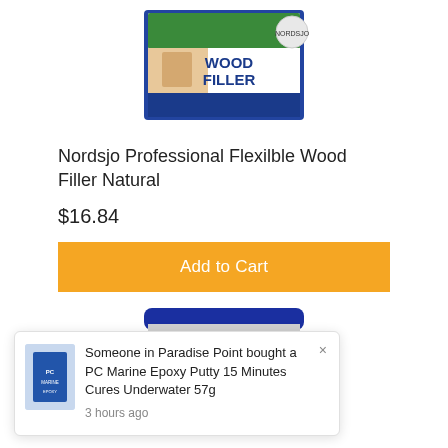[Figure (photo): Top portion of a Nordsjo Professional Flexible Wood Filler Natural product container with green and blue label, showing the product name and 'for all types of wood' text.]
Nordsjo Professional Flexilble Wood Filler Natural
$16.84
Add to Cart
[Figure (photo): Blue and white container of Super Filler product, partially visible, with blue lid and white body showing 'SUPER FILLER' text and 'for plasterboard, wood, filler, cement and concrete surfaces' text.]
Someone in Paradise Point bought a PC Marine Epoxy Putty 15 Minutes Cures Underwater 57g
3 hours ago